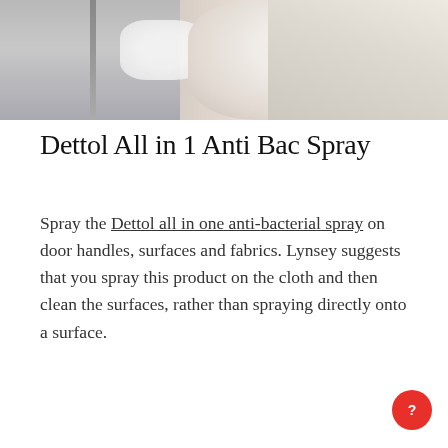[Figure (photo): Photo of a gloved hand cleaning or wiping a surface, possibly a door handle or faucet, with a white cloth or sponge. Background shows grey/silver metallic surface.]
Dettol All in 1 Anti Bac Spray
Spray the Dettol all in one anti-bacterial spray on door handles, surfaces and fabrics. Lynsey suggests that you spray this product on the cloth and then clean the surfaces, rather than spraying directly onto a surface.